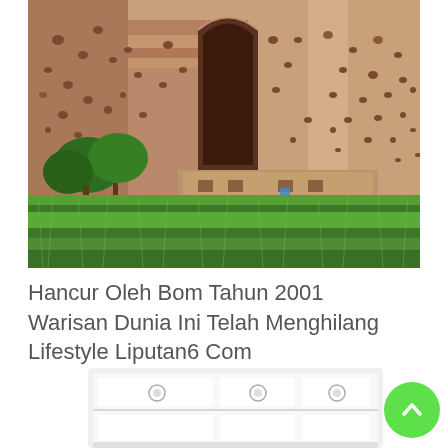[Figure (photo): Photograph of the Bamiyan Buddha niche carved into a rocky sandstone cliff face in Afghanistan, with lush green wheat fields in the foreground and a mud-brick building in the middle ground.]
Hancur Oleh Bom Tahun 2001 Warisan Dunia Ini Telah Menghilang Lifestyle Liputan6 Com
[Figure (photo): Partial view of a white chest of drawers/dresser with circular drawer pulls, and a green circular back-to-top button in the bottom right corner.]